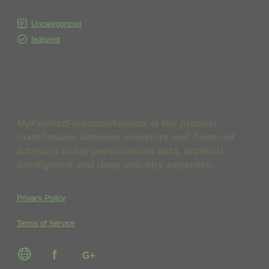Uncategorized
featured
MyPerfectFinancialAdvisor is the premier matchmaker between investors and financial advisors using personalized data, artificial intelligence and deep industry expertise.
Privacy Policy
Terms of Service
[Figure (illustration): Three social media icons at the bottom: a globe/link icon, a Facebook icon, and a Google+ icon]